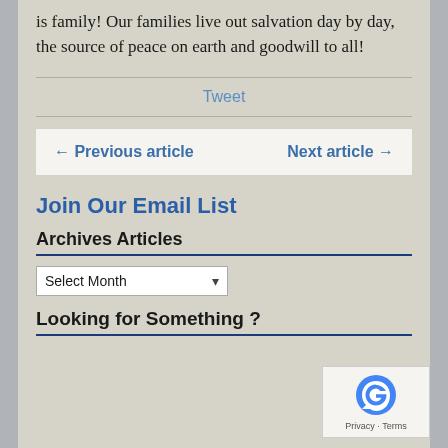is family! Our families live out salvation day by day, the source of peace on earth and goodwill to all!
Tweet
← Previous article    Next article →
Join Our Email List
Archives Articles
Select Month
Looking for Something ?